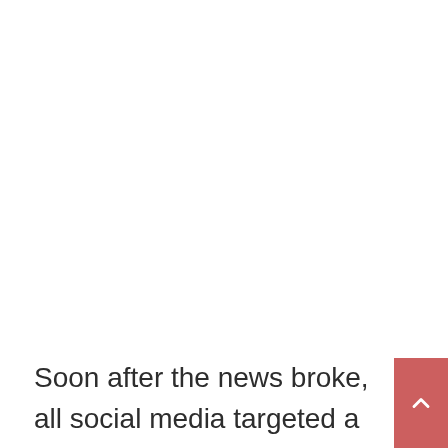Soon after the news broke, all social media targeted a particular section of the Bollywood industry. And has now become a hot topic to talk on. "#nepotismkilledsushant" being